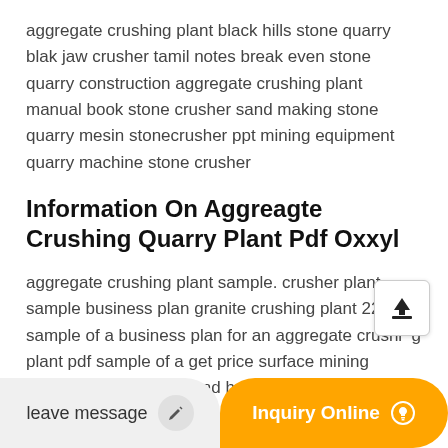aggregate crushing plant black hills stone quarry blak jaw crusher tamil notes break even stone quarry construction aggregate crushing plant manual book stone crusher sand making stone quarry mesin stonecrusher ppt mining equipment quarry machine stone crusher
Information On Aggreagte Crushing Quarry Plant Pdf Oxxyl
aggregate crushing plant sample. crusher plant sample business plan granite crushing plant 22 sample of a business plan for an aggregate crushing plant pdf sample of a get price surface mining concrete batch plants and hot mix information on